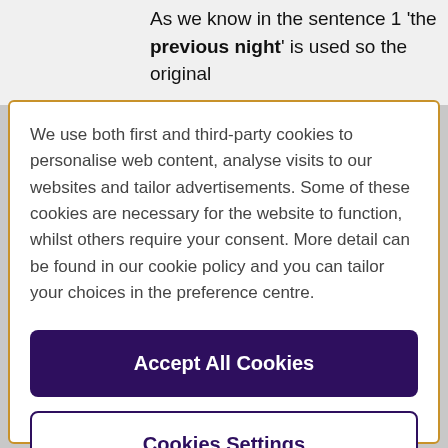As we know in the sentence 1 'the previous night' is used so the original
We use both first and third-party cookies to personalise web content, analyse visits to our websites and tailor advertisements. Some of these cookies are necessary for the website to function, whilst others require your consent. More detail can be found in our cookie policy and you can tailor your choices in the preference centre.
Accept All Cookies
Cookies Settings